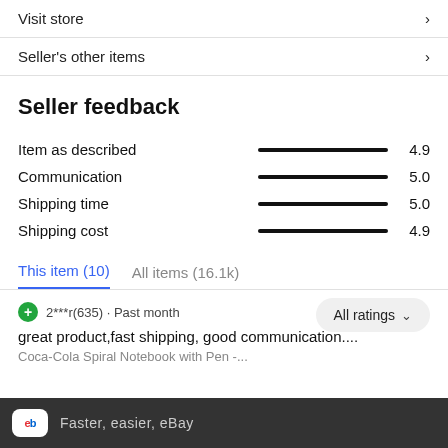Visit store
Seller's other items
Seller feedback
Item as described  4.9
Communication  5.0
Shipping time  5.0
Shipping cost  4.9
This item (10)   All items (16.1k)
All ratings
2***r(635) · Past month
great product,fast shipping, good communication....
Coca-Cola Spiral Notebook with Pen -...
Faster, easier, eBay